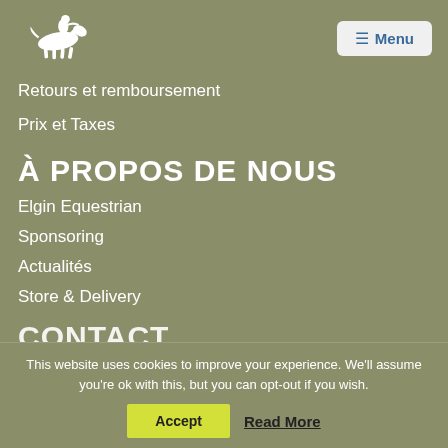[Figure (logo): White horse and rider logo (Elgin Equestrian)]
Retours et remboursement
Prix et Taxes
À PROPOS DE NOUS
Elgin Equestrian
Sponsoring
Actualités
Store & Delivery
CONTACT
This website uses cookies to improve your experience. We'll assume you're ok with this, but you can opt-out if you wish.
Accept   Read More